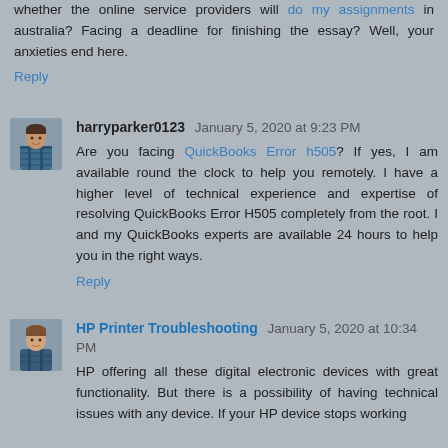whether the online service providers will do my assignments in australia? Facing a deadline for finishing the essay? Well, your anxieties end here.
Reply
harryparker0123 January 5, 2020 at 9:23 PM
Are you facing QuickBooks Error h505? If yes, I am available round the clock to help you remotely. I have a higher level of technical experience and expertise of resolving QuickBooks Error H505 completely from the root. I and my QuickBooks experts are available 24 hours to help you in the right ways.
Reply
HP Printer Troubleshooting January 5, 2020 at 10:34 PM
HP offering all these digital electronic devices with great functionality. But there is a possibility of having technical issues with any device. If your HP device stops working